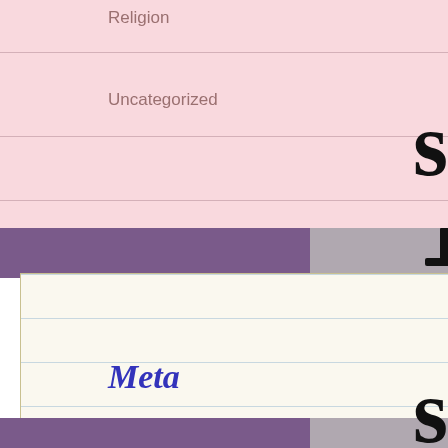Religion
Uncategorized
Meta
Register
Log in
Entries feed
Comments feed
WordPress.com